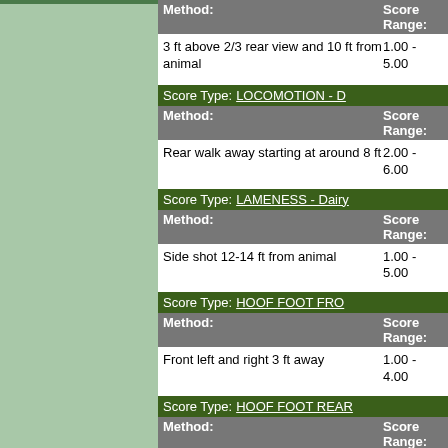| Method: | Score Range: |
| --- | --- |
| 3 ft above 2/3 rear view and 10 ft from animal | 1.00 - 5.00 |
| Score Type: | LOCOMOTION - D... |
| --- | --- |
| Method: | Score Range: |
| Rear walk away starting at around 8 ft | 2.00 - 6.00 |
| Score Type: | LAMENESS - Dairy... |
| --- | --- |
| Method: | Score Range: |
| Side shot 12-14 ft from animal | 1.00 - 5.00 |
| Score Type: | HOOF FOOT FRO... |
| --- | --- |
| Method: | Score Range: |
| Front left and right 3 ft away | 1.00 - 4.00 |
| Score Type: | HOOF FOOT REAR... |
| --- | --- |
| Method: | Score Range: |
| Rear left and right 3 ft away | 1.00 - 4.00 |
| Score Type: | HEALTH/LONGEVI... |
| --- | --- |
| Method: | Score Range: |
| Side shot 12-14 ft from animal | 1.00 - 4.00 |